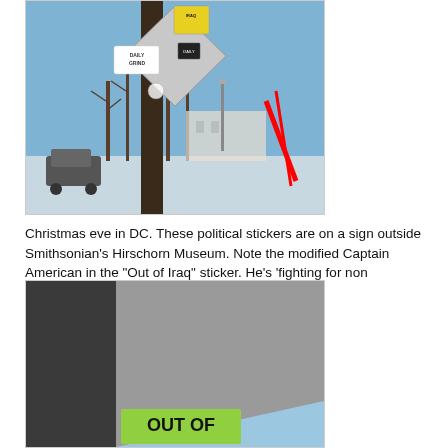[Figure (photo): Outdoor street sign post with political stickers including 'Daily Grind' stickers and an 'Out of Iraq' sticker with a modified Captain America figure. Background shows bare winter trees, parked cars, and a blue sky. A red diagonal slash mark is visible on the right side of the image.]
Christmas eve in DC. These political stickers are on a sign outside Smithsonian's Hirschorn Museum. Note the modified Captain American in the "Out of Iraq" sticker. He's 'fighting for non violence'.
[Figure (photo): Close-up photo of a sign post with a green 'OUT OF' sticker visible at the bottom, showing the beginning of the 'Out of Iraq' sticker against a gray metal post and blue sky background.]